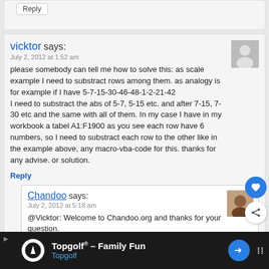Reply (stub at top)
vicktor says:
July 2, 2012 at 1:52 am
please somebody can tell me how to solve this: as scale example I need to substract rows among them. as analogy is for example if I have 5-7-15-30-46-48-1-2-21-42
I need to substract the abs of 5-7, 5-15 etc. and after 7-15, 7-30 etc and the same with all of them. In my case I have in my workbook a tabel A1:F1900 as you see each row have 6 numbers, so I need to substract each row to the other like in the example above, any macro-vba-code for this. thanks for any advise. or solution.
Reply
Chandoo says:
July 2, 2012 at 5:18 am
@Vicktor: Welcome to Chandoo.org and thanks for your question.

I am not able to understand your data. Can you upload sample data somewhere and share a link with us so that we ca
Reply
WHAT'S NEXT → Use Indexed charts when...
Topgolf® – Family Fun
Topgolf